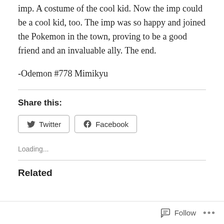imp. A costume of the cool kid. Now the imp could be a cool kid, too. The imp was so happy and joined the Pokemon in the town, proving to be a good friend and an invaluable ally. The end.
-Odemon #778 Mimikyu
Share this:
Loading...
Related
Follow ...